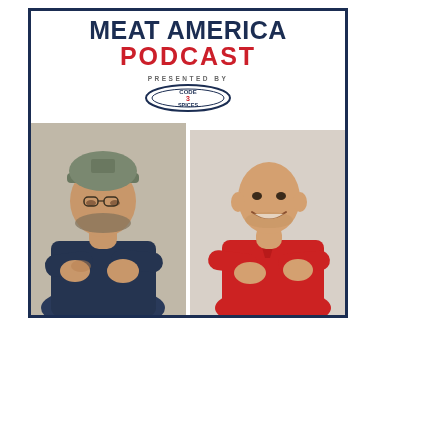[Figure (illustration): Meat America Podcast cover art showing two men on a white background. Left man is larger, wearing a dark navy blue button-up shirt and a camouflage cap, with arms crossed/folded and visible tattoos. Right man is bald, wearing a red polo shirt with arms crossed. Above them is the show title 'MEAT AMERICA PODCAST' in bold navy and red text, with 'PRESENTED BY CODE 3 SPICES' logo in the upper middle area. The whole image has a dark navy border.]